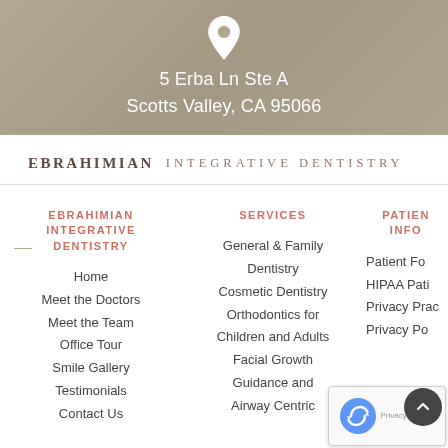[Figure (other): Tan/beige textured background banner with white location pin icon and address text]
5 Erba Ln Ste A
Scotts Valley, CA 95066
[Figure (logo): Ebrahimian Integrative Dentistry logo with bold and light lettered type]
EBRAHIMIAN INTEGRATIVE DENTISTRY
Home
Meet the Doctors
Meet the Team
Office Tour
Smile Gallery
Testimonials
Contact Us
SERVICES
General & Family Dentistry
Cosmetic Dentistry
Orthodontics for Children and Adults
Facial Growth Guidance and Airway Centric
PATIENT INFO
Patient Forms
HIPAA Patient
Privacy Practice
Privacy Policy